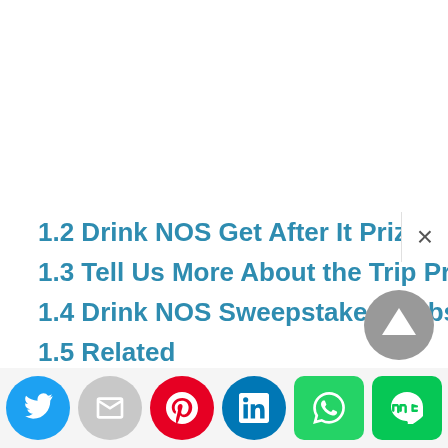1.2 Drink NOS Get After It Prizes?
1.3 Tell Us More About the Trip Prize!
1.4 Drink NOS Sweepstakes Website
1.5 Related
[Figure (other): Scroll-to-top button, gray circular arrow-up icon]
[Figure (other): Social share bar with Twitter, Email, Pinterest, LinkedIn, WhatsApp, and LINE buttons]